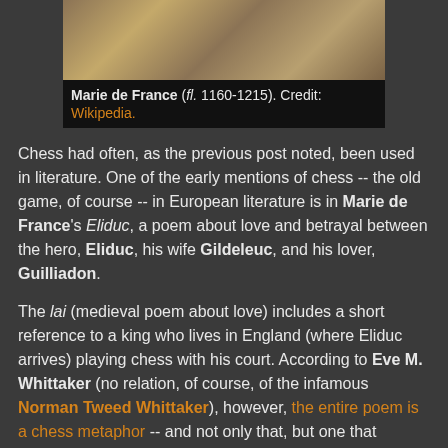[Figure (illustration): Medieval illustration of Marie de France, a seated figure writing or reading]
Marie de France (fl. 1160-1215). Credit: Wikipedia.
Chess had often, as the previous post noted, been used in literature. One of the early mentions of chess -- the old game, of course -- in European literature is in Marie de France's Eliduc, a poem about love and betrayal between the hero, Eliduc, his wife Gildeleuc, and his lover, Guilliadon.
The lai (medieval poem about love) includes a short reference to a king who lives in England (where Eliduc arrives) playing chess with his court. According to Eve M. Whittaker (no relation, of course, of the infamous Norman Tweed Whittaker), however, the entire poem is a chess metaphor -- and not only that, but one that connects the philosophical lessons the game teaches in Muslim works to a new Christian outlook,
Her thesis (see previous link) is titled 'Marie de France's Eliduc: The Play of Adventure', published in Medieval...